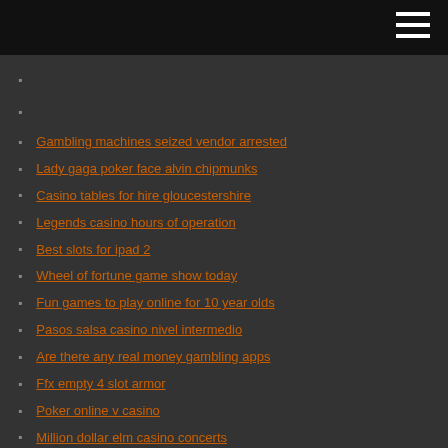Gambling machines seized vendor arrested
Lady gaga poker face alvin chipmunks
Casino tables for hire gloucestershire
Legends casino hours of operation
Best slots for ipad 2
Wheel of fortune game show today
Fun games to play online for 10 year olds
Pasos salsa casino nivel intermedio
Are there any real money gambling apps
Ffx empty 4 slot armor
Poker online v casino
Million dollar elm casino concerts